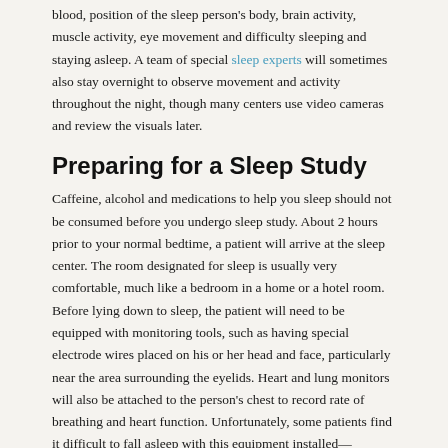blood, position of the sleep person's body, brain activity, muscle activity, eye movement and difficulty sleeping and staying asleep. A team of special sleep experts will sometimes also stay overnight to observe movement and activity throughout the night, though many centers use video cameras and review the visuals later.
Preparing for a Sleep Study
Caffeine, alcohol and medications to help you sleep should not be consumed before you undergo sleep study. About 2 hours prior to your normal bedtime, a patient will arrive at the sleep center. The room designated for sleep is usually very comfortable, much like a bedroom in a home or a hotel room. Before lying down to sleep, the patient will need to be equipped with monitoring tools, such as having special electrode wires placed on his or her head and face, particularly near the area surrounding the eyelids. Heart and lung monitors will also be attached to the person's chest to record rate of breathing and heart function. Unfortunately, some patients find it difficult to fall asleep with this equipment installed—although it is completely necessary if a thorough polysomnogram is to be produced the next morning.
Why Staying Overnight for Sleep Study is Important